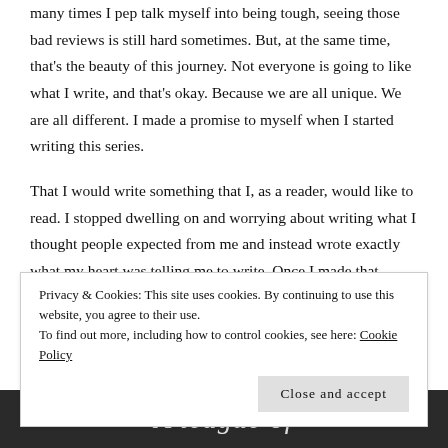many times I pep talk myself into being tough, seeing those bad reviews is still hard sometimes. But, at the same time, that's the beauty of this journey. Not everyone is going to like what I write, and that's okay. Because we are all unique. We are all different. I made a promise to myself when I started writing this series.
That I would write something that I, as a reader, would like to read. I stopped dwelling on and worrying about writing what I thought people expected from me and instead wrote exactly what my heart was telling me to write. Once I made that decision, the words flowed from me like a broken dam. Now, it's finished and out there and while I'm nervous, I'm also more excited than I've been about a release in a really long time! This was the book that meant the most
Privacy & Cookies: This site uses cookies. By continuing to use this website, you agree to their use.
To find out more, including how to control cookies, see here: Cookie Policy
Close and accept
[Figure (photo): Black and white image at the bottom of the page showing partial text 'A league of' in italic style against a dark background]